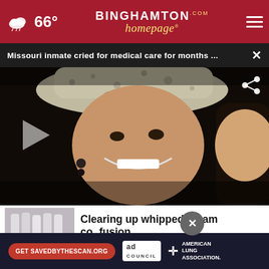66° | BinghamtonHomepage.com
Missouri inmate cried for medical care for months ...
[Figure (photo): Close-up photo of a woman smiling, wearing a spotted cowboy hat and red hair accessory, dark background, with a partial play button overlay on the left]
Clearing up whipped cream confusion
[Figure (photo): Thumbnail image of whipped cream cans/bottles]
flights to Florida
[Figure (screenshot): Ad banner: Get SAVEDBYTHESCAN.ORG — ad council — American Lung Association]